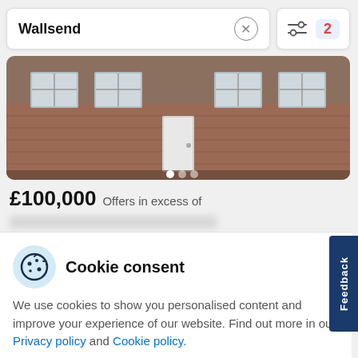Wallsend
[Figure (photo): Exterior photo of a brick terraced house, showing the front facade with windows and front door, cropped view]
£100,000 Offers in excess of
Cookie consent
We use cookies to show you personalised content and improve your experience of our website. Find out more in our Privacy policy and Cookie policy.
Accept all
Manage options